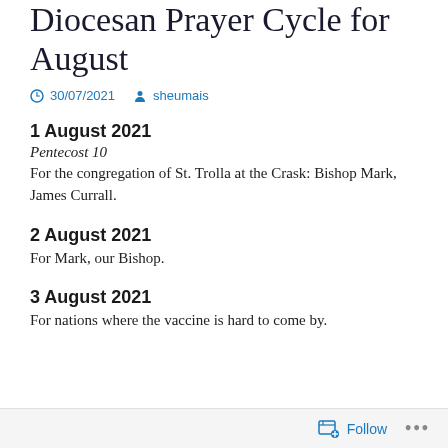Diocesan Prayer Cycle for August
30/07/2021   sheumais
1 August 2021
Pentecost 10
For the congregation of St. Trolla at the Crask: Bishop Mark, James Currall.
2 August 2021
For Mark, our Bishop.
3 August 2021
For nations where the vaccine is hard to come by.
Follow ...